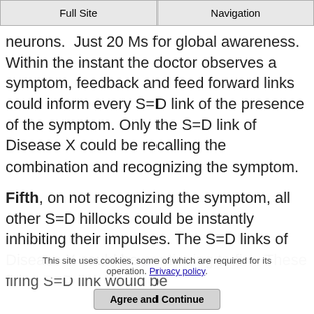Full Site | Navigation
neurons.  Just 20 Ms for global awareness. Within the instant the doctor observes a symptom, feedback and feed forward links could inform every S=D link of the presence of the symptom. Only the S=D link of Disease X could be recalling the combination and recognizing the symptom.
Fifth, on not recognizing the symptom, all other S=D hillocks could be instantly inhibiting their impulses. The S=D links of Disease X could be continuing to fire. These firing S=D link would be
This site uses cookies, some of which are required for its operation. Privacy policy.
Agree and Continue